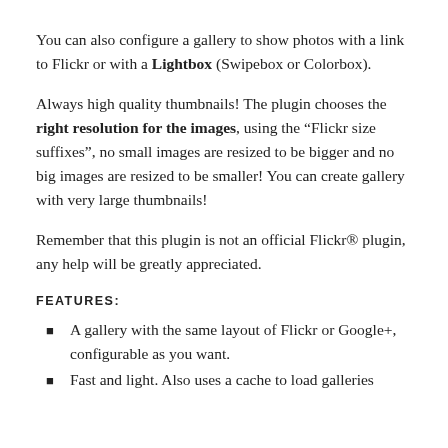You can also configure a gallery to show photos with a link to Flickr or with a Lightbox (Swipebox or Colorbox).
Always high quality thumbnails! The plugin chooses the right resolution for the images, using the “Flickr size suffixes”, no small images are resized to be bigger and no big images are resized to be smaller! You can create gallery with very large thumbnails!
Remember that this plugin is not an official Flickr® plugin, any help will be greatly appreciated.
FEATURES:
A gallery with the same layout of Flickr or Google+, configurable as you want.
Fast and light. Also uses a cache to load galleries